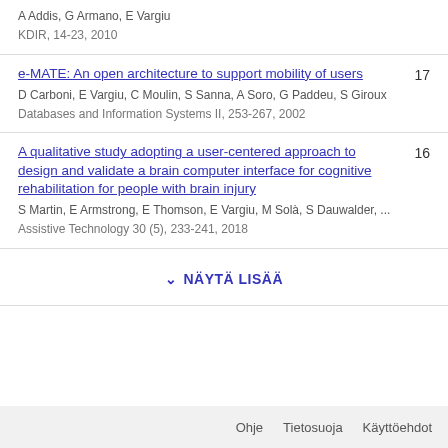A Addis, G Armano, E Vargiu
KDIR, 14-23, 2010
e-MATE: An open architecture to support mobility of users
D Carboni, E Vargiu, C Moulin, S Sanna, A Soro, G Paddeu, S Giroux
Databases and Information Systems II, 253-267, 2002
17
A qualitative study adopting a user-centered approach to design and validate a brain computer interface for cognitive rehabilitation for people with brain injury
S Martin, E Armstrong, E Thomson, E Vargiu, M Solà, S Dauwalder, ...
Assistive Technology 30 (5), 233-241, 2018
16
NÄYTÄ LISÄÄ
Ohje   Tietosuoja   Käyttöehdot